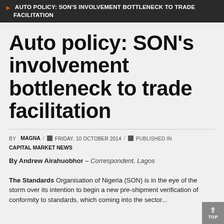AUTO POLICY: SON'S INVOLVEMENT BOTTLENECK TO TRADE FACILITATION
Auto policy: SON's involvement bottleneck to trade facilitation
BY MAGNA / FRIDAY, 10 OCTOBER 2014 / PUBLISHED IN CAPITAL MARKET NEWS
By Andrew Airahuobhor – Correspondent, Lagos
The Standards Organisation of Nigeria (SON) is in the eye of the storm over its intention to begin a new pre-shipment verification of conformity to standards, which coming into the sector...